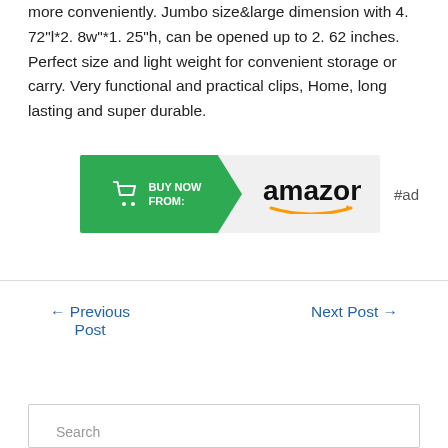more conveniently. Jumbo size&large dimension with 4. 72"l*2. 8w"*1. 25"h, can be opened up to 2. 62 inches. Perfect size and light weight for convenient storage or carry. Very functional and practical clips, Home, long lasting and super durable.
[Figure (other): Buy Now From Amazon button with shopping cart icon and Amazon logo with smile, followed by #ad label]
← Previous Post
Next Post →
Search